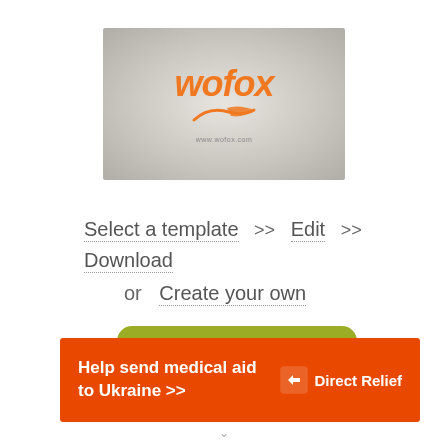[Figure (logo): Wofox logo on grey gradient background with orange italic bold text 'wofox', an orange swoosh/hand shape underneath, and 'www.wofox.com' text below]
Select a template >> Edit >>
Download
or   Create your own
[Figure (other): Green rounded button partially visible]
Help send medical aid to Ukraine >>
[Figure (logo): Direct Relief logo — white box icon with arrows and 'Direct Relief' white text on orange banner]